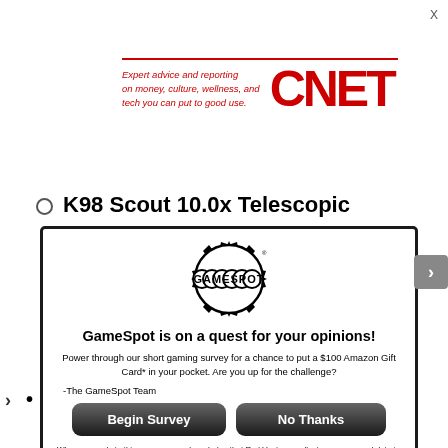[Figure (logo): CNET logo with tagline: Expert advice and reporting on money, culture, wellness, and tech you can put to good use.]
K98 Scout 10.0x Telescopic
[Figure (logo): GameSpot logo — circular bubble letters with spiky starburst]
GameSpot is on a quest for your opinions!
Power through our short gaming survey for a chance to put a $100 Amazon Gift Card* in your pocket.  Are you up for the challenge?

-The GameSpot Team
Begin Survey   No Thanks
When you reply to this survey, you acknowledge that Red Ventures collects your personal data in accordance with the Red Ventures privacy policy
For sweepstakes rules, see here.
Contact us about this survey.
Damage decreased by 20% for the following Shotguns: